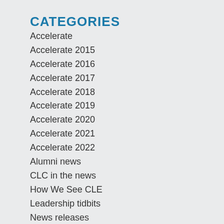CATEGORIES
Accelerate
Accelerate 2015
Accelerate 2016
Accelerate 2017
Accelerate 2018
Accelerate 2019
Accelerate 2020
Accelerate 2021
Accelerate 2022
Alumni news
CLC in the news
How We See CLE
Leadership tidbits
News releases
Program happenings